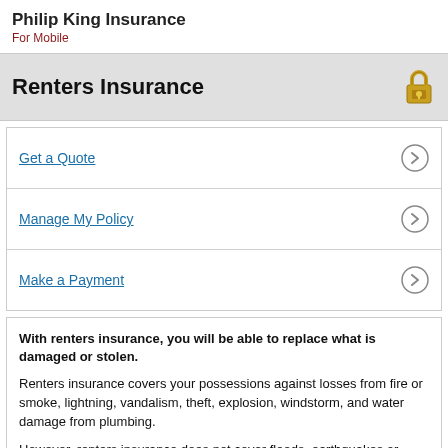Philip King Insurance
For Mobile
Renters Insurance
Get a Quote
Manage My Policy
Make a Payment
With renters insurance, you will be able to replace what is damaged or stolen.
Renters insurance covers your possessions against losses from fire or smoke, lightning, vandalism, theft, explosion, windstorm, and water damage from plumbing.
However, renters insurance does not cover floods, earthquakes or routine wear and tear. You can, however, buy separate policies for flood and earthquake damage.
If you are forced out of your home because of a disaster your additional living expenses will be covered.